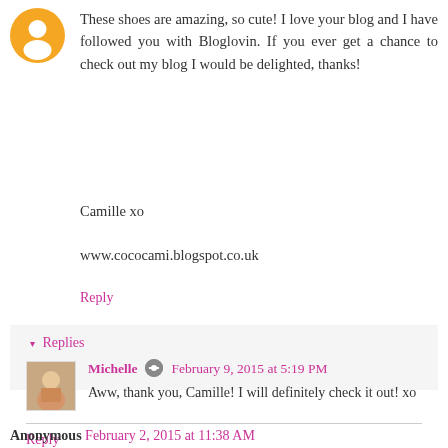[Figure (illustration): Orange/yellow circular avatar icon with a white silhouette figure in the center, representing a Blogger user placeholder avatar]
These shoes are amazing, so cute! I love your blog and I have followed you with Bloglovin. If you ever get a chance to check out my blog I would be delighted, thanks!
Camille xo
www.cococami.blogspot.co.uk
Reply
▾ Replies
[Figure (photo): Small square photo of Michelle, showing a smiling person]
Michelle  February 9, 2015 at 5:19 PM
Aww, thank you, Camille! I will definitely check it out! xo
Reply
Anonymous  February 2, 2015 at 11:38 AM